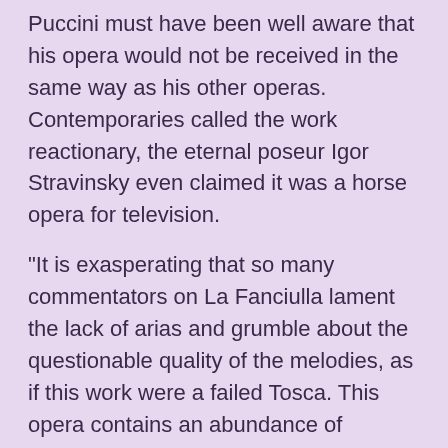Puccini must have been well aware that his opera would not be received in the same way as his other operas. Contemporaries called the work reactionary, the eternal poseur Igor Stravinsky even claimed it was a horse opera for television.
"It is exasperating that so many commentators on La Fanciulla lament the lack of arias and grumble about the questionable quality of the melodies, as if this work were a failed Tosca. This opera contains an abundance of melodies, but Puccini subordinates them to the character sketches and to the description of the action. Those who listen only to the voices during the performance will miss the most interesting source of melodies, especially the orchestra." William Ashbrook wrote.
As far as the action is concerned, it may be clear that